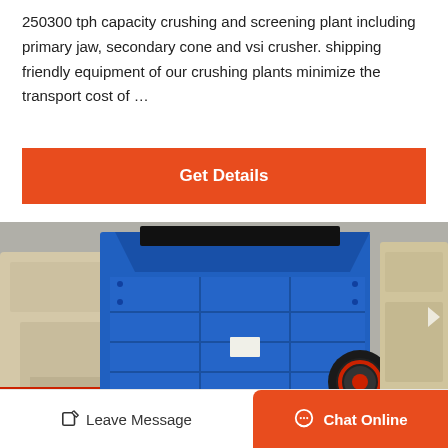250300 tph capacity crushing and screening plant including primary jaw, secondary cone and vsi crusher. shipping friendly equipment of our crushing plants minimize the transport cost of …
[Figure (other): Button: Get Details — orange/red rectangular call-to-action button with white bold text]
[Figure (photo): Photo of a large blue industrial impact crusher machine with red accents and black belt pulley wheel, other cream/beige crushing equipment visible in background, industrial warehouse setting]
Leave Message
Chat Online